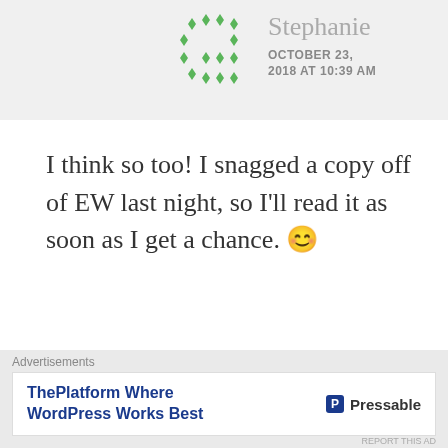[Figure (illustration): Green dotted diamond/arrow pattern avatar icon for user Stephanie]
Stephanie
OCTOBER 23, 2018 AT 10:39 AM
I think so too! I snagged a copy off of EW last night, so I'll read it as soon as I get a chance. 😊
★ Liked by 1 person
Advertisements
[Figure (screenshot): DAY ONE ad banner in blue]
Advertisements
ThePlatform Where WordPress Works Best   Pressable